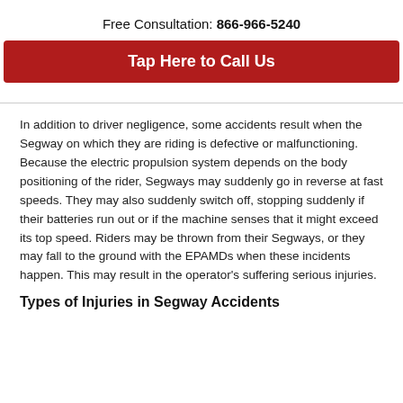Free Consultation: 866-966-5240
Tap Here to Call Us
In addition to driver negligence, some accidents result when the Segway on which they are riding is defective or malfunctioning. Because the electric propulsion system depends on the body positioning of the rider, Segways may suddenly go in reverse at fast speeds. They may also suddenly switch off, stopping suddenly if their batteries run out or if the machine senses that it might exceed its top speed. Riders may be thrown from their Segways, or they may fall to the ground with the EPAMDs when these incidents happen. This may result in the operator’s suffering serious injuries.
Types of Injuries in Segway Accidents